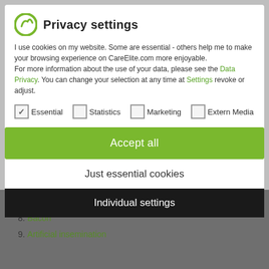euphemistic words are intended to distract us consumers from the suffering caused by animal ideas. In advance, I have tried to explain what they do. They are. Let's go! In advance, here is an overview for you.
Privacy settings
I use cookies on my website. Some are essential - others help me to make your browsing experience on CareElite.com more enjoyable. For more information about the use of your data, please see the Data Privacy. You can change your selection at any time at Settings revoke or adjust.
Essential  Statistics  Marketing  Extern Media
2. Processing plant
3. Ham
Accept all
4. Leather
Just essential cookies
5. Milk
6. Honey
Individual settings
7. Sausage
8. Bacon
9. Artificial insemination